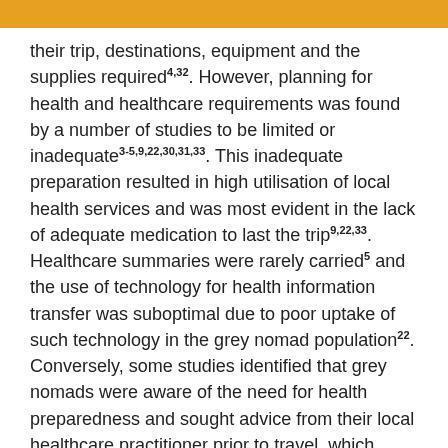their trip, destinations, equipment and the supplies required4,32. However, planning for health and healthcare requirements was found by a number of studies to be limited or inadequate3-5,9,22,30,31,33. This inadequate preparation resulted in high utilisation of local health services and was most evident in the lack of adequate medication to last the trip9,22,33. Healthcare summaries were rarely carried5 and the use of technology for health information transfer was suboptimal due to poor uptake of such technology in the grey nomad population22. Conversely, some studies identified that grey nomads were aware of the need for health preparedness and sought advice from their local healthcare practitioner prior to travel, which included a health summary and adequate medications for the journey3.
The need for preparedness was evident in the findings of Obst et al that 21–32% of grey nomads experienced a